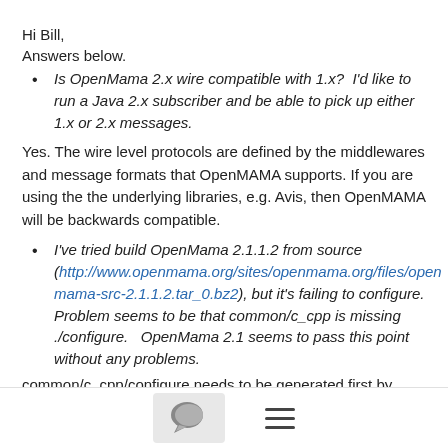Hi Bill,
Answers below.
Is OpenMama 2.x wire compatible with 1.x?  I'd like to run a Java 2.x subscriber and be able to pick up either 1.x or 2.x messages.
Yes. The wire level protocols are defined by the middlewares and message formats that OpenMAMA supports. If you are using the the underlying libraries, e.g. Avis, then OpenMAMA will be backwards compatible.
I've tried build OpenMama 2.1.1.2 from source (http://www.openmama.org/sites/openmama.org/files/openmama-src-2.1.1.2.tar_0.bz2), but it's failing to configure. Problem seems to be that common/c_cpp is missing ./configure.   OpenMama 2.1 seems to pass this point without any problems.
common/c_cpp/configure needs to be generated first by